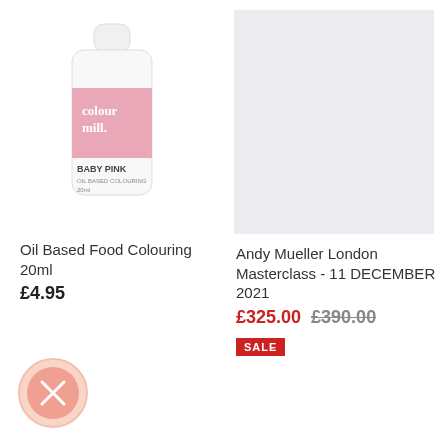[Figure (photo): Colour Mill Baby Pink oil-based food colouring bottle, 20ml, white bottle with pink label]
Oil Based Food Colouring 20ml
£4.95
[Figure (photo): Light grey/white blank product image placeholder for Andy Mueller London Masterclass]
Andy Mueller London Masterclass - 11 DECEMBER 2021
£325.00 £390.00
SALE
[Figure (illustration): Salmon/peach colored circular swatch with an X mark inside, indicating a selected color filter]